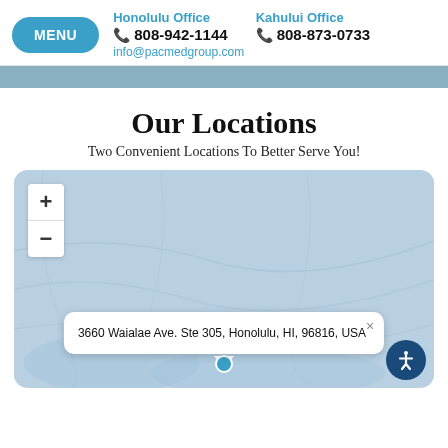MENU | Honolulu Office 808-942-1144 | Kahului Office 808-873-0733 | info@pacmedgroup.com
Our Locations
Two Convenient Locations To Better Serve You!
[Figure (map): Interactive map with zoom controls showing location pin for 3660 Waialae Ave. Ste 305, Honolulu, HI, 96816, USA with address popup]
3660 Waialae Ave. Ste 305, Honolulu, HI, 96816, USA